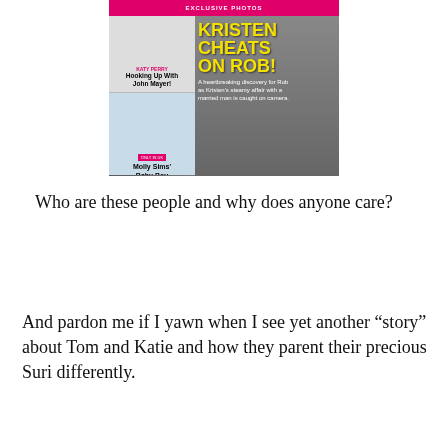[Figure (photo): Magazine cover showing 'EXCLUSIVE PHOTOS' banner at top in pink, headline 'KRISTEN CHEATS ON ROB!' in large yellow text, subheadline 'A heartbreaking discovery for Rob as Kristen's steamy affair with a married man is caught on camera.' Left panel shows smaller stories: 'KATY PERRY Hooking Up With John Mayer!' and 'Molly Sims' Baby Boy'. Background shows celebrity couple photos.]
Who are these people and why does anyone care?
And pardon me if I yawn when I see yet another “story” about Tom and Katie and how they parent their precious Suri differently.